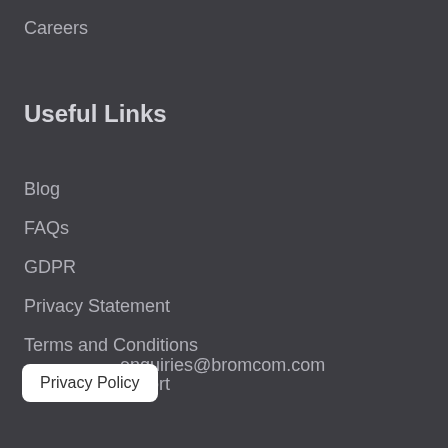Careers
Useful Links
Blog
FAQs
GDPR
Privacy Statement
Terms and Conditions
Customer Support
enquiries@bromcom.com
Privacy Policy